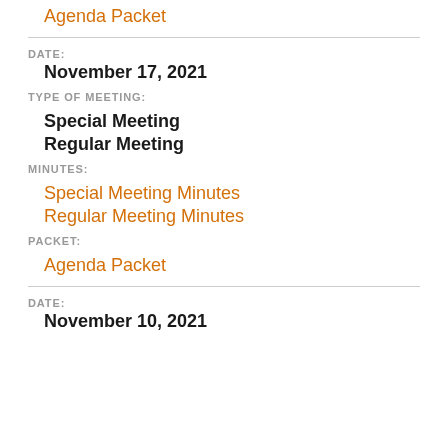Agenda Packet
DATE:
November 17, 2021
TYPE OF MEETING:
Special Meeting
Regular Meeting
MINUTES:
Special Meeting Minutes
Regular Meeting Minutes
PACKET:
Agenda Packet
DATE:
November 10, 2021